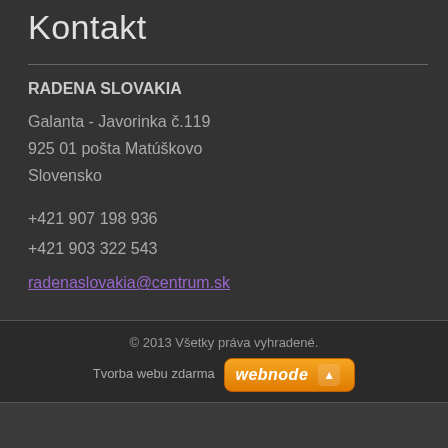Kontakt
RADENA SLOVAKIA
Galanta - Javorinka č.119
925 01 pošta Matúškovo
Slovensko
+421 907 198 936
+421 903 322 543
radenaslovakia@centrum.sk
© 2013 Všetky práva vyhradené.
Tvorba webu zdarma webnode
Zobraziť: Mobilnú verziu | Štandardnú verziu